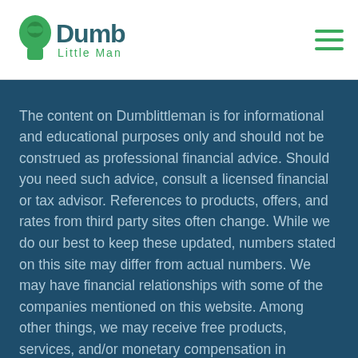Dumb Little Man
The content on Dumblittleman is for informational and educational purposes only and should not be construed as professional financial advice. Should you need such advice, consult a licensed financial or tax advisor. References to products, offers, and rates from third party sites often change. While we do our best to keep these updated, numbers stated on this site may differ from actual numbers. We may have financial relationships with some of the companies mentioned on this website. Among other things, we may receive free products, services, and/or monetary compensation in exchange for featured placement of sponsored products or services. We strive to write accurate and genuine reviews and